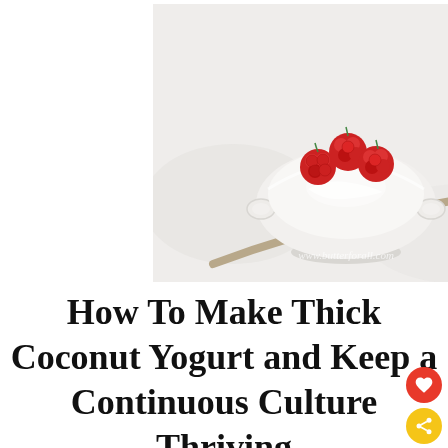[Figure (photo): A white ceramic bowl with handles, filled with white coconut yogurt topped with three red raspberries, placed on a white cloth beside a silver spoon. Watermark reads www.butterforall.com]
How To Make Thick Coconut Yogurt and Keep a Continuous Culture Thriving